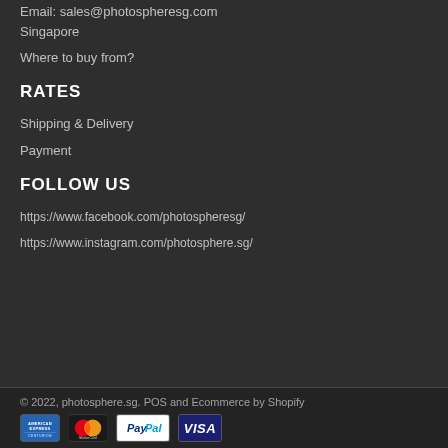Email: sales@photospheresg.com
Singapore
Where to buy from?
RATES
Shipping & Delivery
Payment
FOLLOW US
https://www.facebook.com/photospheresg/
https://www.instagram.com/photosphere.sg/
© 2022, photosphere.sg. POS and Ecommerce by Shopify
[Figure (other): Payment icons: American Express, Mastercard, PayPal, Visa]